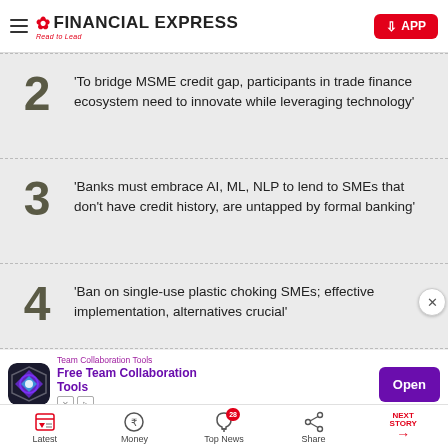FINANCIAL EXPRESS — Read to Lead
'To bridge MSME credit gap, participants in trade finance ecosystem need to innovate while leveraging technology'
'Banks must embrace AI, ML, NLP to lend to SMEs that don't have credit history, are untapped by formal banking'
'Ban on single-use plastic choking SMEs; effective implementation, alternatives crucial'
[Figure (screenshot): Ad banner for Team Collaboration Tools with purple Open button]
Latest | Money | Top News (28) | Share | NEXT STORY